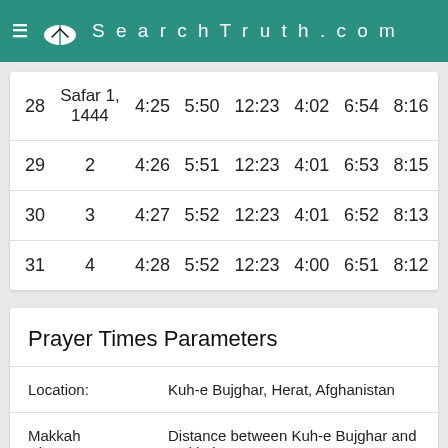SearchTruth.com
| Day | Hijri | Fajr | Sunrise | Dhuhr | Asr | Maghrib | Isha |
| --- | --- | --- | --- | --- | --- | --- | --- |
| 28 | Safar 1, 1444 | 4:25 | 5:50 | 12:23 | 4:02 | 6:54 | 8:16 |
| 29 | 2 | 4:26 | 5:51 | 12:23 | 4:01 | 6:53 | 8:15 |
| 30 | 3 | 4:27 | 5:52 | 12:23 | 4:01 | 6:52 | 8:13 |
| 31 | 4 | 4:28 | 5:52 | 12:23 | 4:00 | 6:51 | 8:12 |
Prayer Times Parameters
Location: Kuh-e Bujghar, Herat, Afghanistan
Makkah Distance: Distance between Kuh-e Bujghar and Makkah is 2,593 kilometers
Madina Distance between Kuh-e Bujghar and Madina